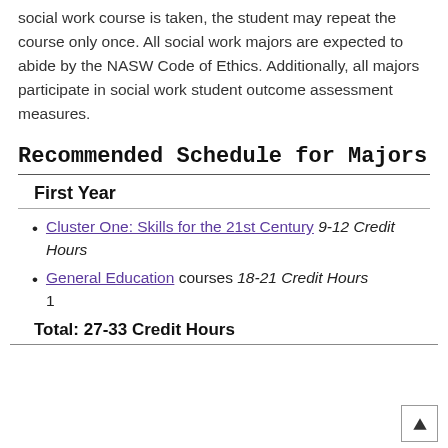social work course is taken, the student may repeat the course only once. All social work majors are expected to abide by the NASW Code of Ethics. Additionally, all majors participate in social work student outcome assessment measures.
Recommended Schedule for Majors
First Year
Cluster One: Skills for the 21st Century 9-12 Credit Hours
General Education courses 18-21 Credit Hours 1
Total: 27-33 Credit Hours